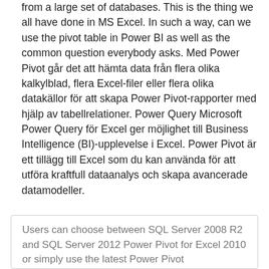from a large set of databases. This is the thing we all have done in MS Excel. In such a way, can we use the pivot table in Power BI as well as the common question everybody asks. Med Power Pivot går det att hämta data från flera olika kalkylblad, flera Excel-filer eller flera olika datakällor för att skapa Power Pivot-rapporter med hjälp av tabellrelationer. Power Query Microsoft Power Query för Excel ger möjlighet till Business Intelligence (BI)-upplevelse i Excel. Power Pivot är ett tillägg till Excel som du kan använda för att utföra kraftfull dataanalys och skapa avancerade datamodeller.
Users can choose between SQL Server 2008 R2 and SQL Server 2012 Power Pivot for Excel 2010 or simply use the latest Power Pivot...